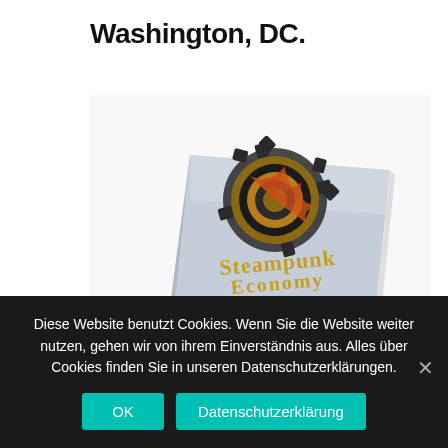Washington, DC.
[Figure (photo): Book cover of 'Steampunk Economy – Steam Engine to the Moon' by Andreas Rein, shown as a physical hardcover book tilted at an angle on a white background. The cover features a steampunk-style mechanical gear/wheel illustration and stylized gold lettering.]
Diese Website benutzt Cookies. Wenn Sie die Website weiter nutzen, gehen wir von ihrem Einverständnis aus. Alles über Cookies finden Sie in unseren Datenschutzerklärungen.
OK
Datenschutzerklärung